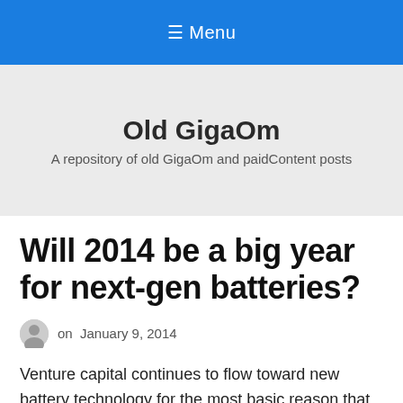≡ Menu
Old GigaOm
A repository of old GigaOm and paidContent posts
Will 2014 be a big year for next-gen batteries?
on January 9, 2014
Venture capital continues to flow toward new battery technology for the most basic reason that the potential payoff is so large. From grid storage to mobile to EVs